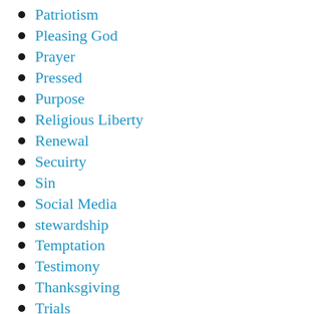Patriotism
Pleasing God
Prayer
Pressed
Purpose
Religious Liberty
Renewal
Secuirty
Sin
Social Media
stewardship
Temptation
Testimony
Thanksgiving
Trials
Uncategorized